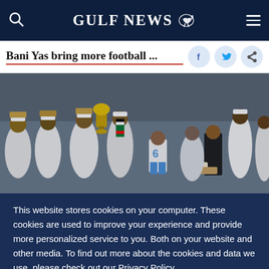GULF NEWS
Bani Yas bring more football ...
[Figure (photo): Football players and officials in white robes celebrating with a golden trophy on a pitch]
This website stores cookies on your computer. These cookies are used to improve your experience and provide more personalized service to you. Both on your website and other media. To find out more about the cookies and data we use, please check out our Privacy Policy.
OK